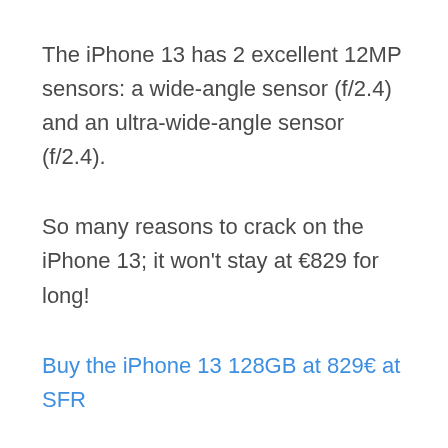The iPhone 13 has 2 excellent 12MP sensors: a wide-angle sensor (f/2.4) and an ultra-wide-angle sensor (f/2.4).
So many reasons to crack on the iPhone 13; it won’t stay at €829 for long!
Buy the iPhone 13 128GB at 829€ at SFR